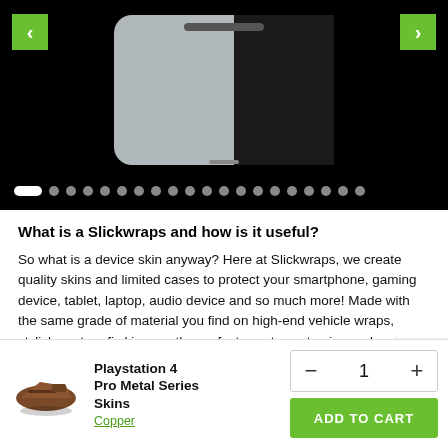[Figure (screenshot): Product image slideshow showing a phone with silver and black finish on a black background, with left/right navigation arrows (green) and dot indicators at the bottom. First dot is active (white pill shape), rest are grey circles.]
What is a Slickwraps and how is it useful?
So what is a device skin anyway? Here at Slickwraps, we create quality skins and limited cases to protect your smartphone, gaming device, tablet, laptop, audio device and so much more! Made with the same grade of material you find on high-end vehicle wraps, stylish custom-fi skins are the perfect way to customize and personali your devices. A device skin does provide protection it
[Figure (photo): Small product thumbnail of a Playstation 4 Pro in copper/brown metallic finish skin, viewed from above-front angle.]
Playstation 4 Pro Metal Series Skins
Copper